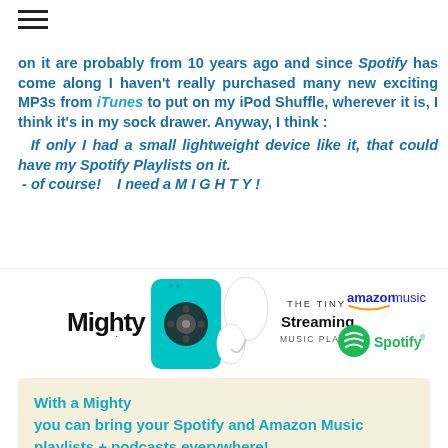on it are probably from 10 years ago and since Spotify has come along I haven't really purchased many new exciting MP3s from iTunes to put on my iPod Shuffle, wherever it is, I think it's in my sock drawer. Anyway, I think :
If only I had a small lightweight device like it, that could have my Spotify Playlists on it. - of course!    I need a M I G H T Y !
[Figure (infographic): Mighty logo on left, photo of teal Mighty device with earbuds in center, text 'THE TINY Streaming MUSIC PLAYER' with Amazon Music and Spotify logos on right]
With a Mighty you can bring your Spotify and Amazon Music playlists + podcasts everywhere!